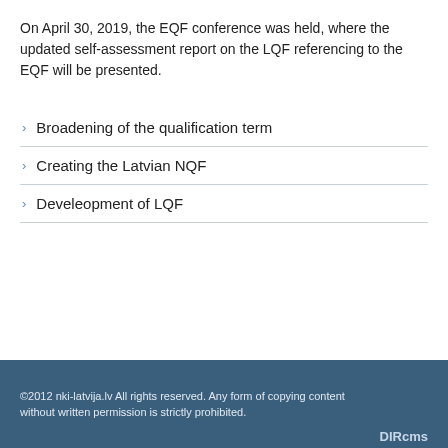On April 30, 2019, the EQF conference was held, where the updated self-assessment report on the LQF referencing to the EQF will be presented.
Broadening of the qualification term
Creating the Latvian NQF
Develeopment of LQF
©2012 nki-latvija.lv All rights reserved. Any form of copying content without written permission is strictly prohibited. DIRcms